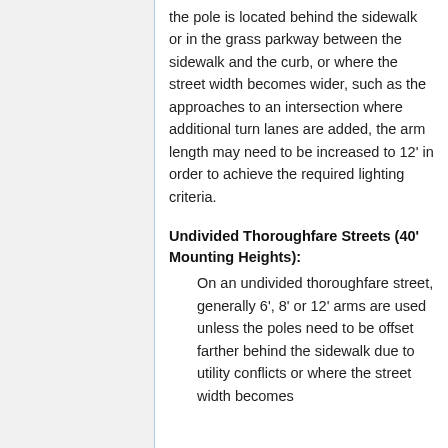the pole is located behind the sidewalk or in the grass parkway between the sidewalk and the curb, or where the street width becomes wider, such as the approaches to an intersection where additional turn lanes are added, the arm length may need to be increased to 12' in order to achieve the required lighting criteria.
Undivided Thoroughfare Streets (40' Mounting Heights):
On an undivided thoroughfare street, generally 6', 8' or 12' arms are used unless the poles need to be offset farther behind the sidewalk due to utility conflicts or where the street width becomes